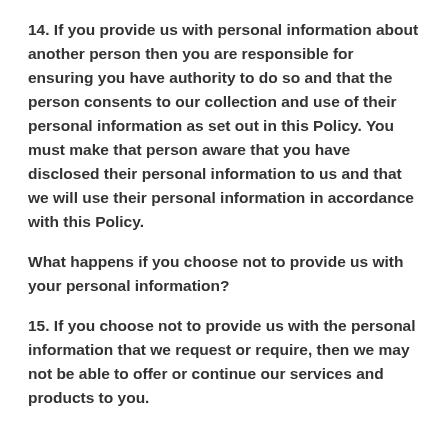14.  If you provide us with personal information about another person then you are responsible for ensuring you have authority to do so and that the person consents to our collection and use of their personal information as set out in this Policy. You must make that person aware that you have disclosed their personal information to us and that we will use their personal information in accordance with this Policy.
What happens if you choose not to provide us with your personal information?
15.  If you choose not to provide us with the personal information that we request or require, then we may not be able to offer or continue our services and products to you.